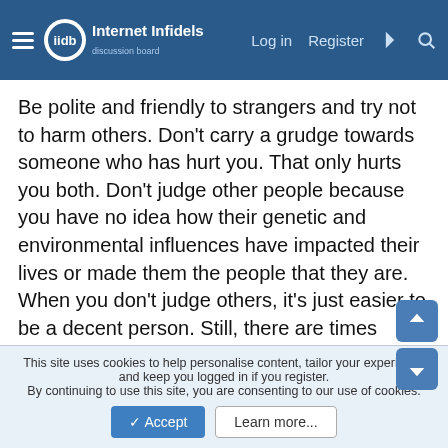Internet Infidels — Log in  Register
Be polite and friendly to strangers and try not to harm others. Don't carry a grudge towards someone who has hurt you. That only hurts you both. Don't judge other people because you have no idea how their genetic and environmental influences have impacted their lives or made them the people that they are. When you don't judge others, it's just easier to be a decent person. Still, there are times when this is very difficult and you just want to smack the shit out of someone. Just calm down and move on.
fromderinside
Mazzie Daius
Joined: Oct 6, 2008
Messages: 15,745
Location: Local group: Solar system: Earth: NA: US: contiquo
This site uses cookies to help personalise content, tailor your experience and keep you logged in if you register.
By continuing to use this site, you are consenting to our use of cookies.